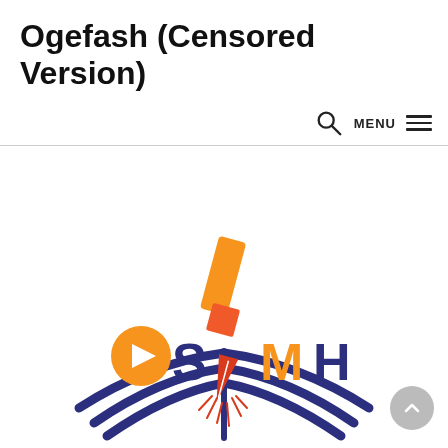Ogefash (Censored Version)
[Figure (logo): OSMH logo with a pen/ink nib over an open book, orange play button circle for O, dark blue letters S, M, H, orange and red pen nib in center, dark blue book arc at bottom]
[Figure (other): Back to top button, grey circle with upward pointing chevron, bottom right corner]